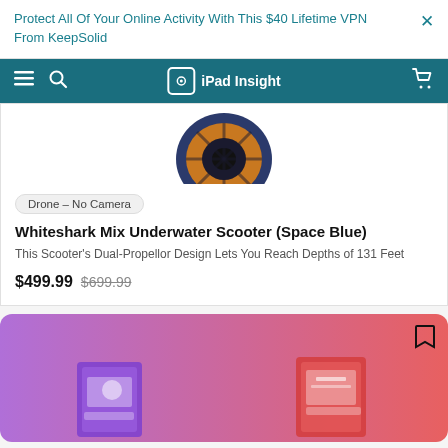Protect All Of Your Online Activity With This $40 Lifetime VPN From KeepSolid
iPad Insight
[Figure (photo): Partial view of a drone or fan-like circular device with blue and bronze tones, cropped at top]
Drone – No Camera
Whiteshark Mix Underwater Scooter (Space Blue)
This Scooter's Dual-Propellor Design Lets You Reach Depths of 131 Feet
$499.99  $699.99
[Figure (photo): Promotional card with purple-to-red gradient background showing two product box images (children's educational kits)]